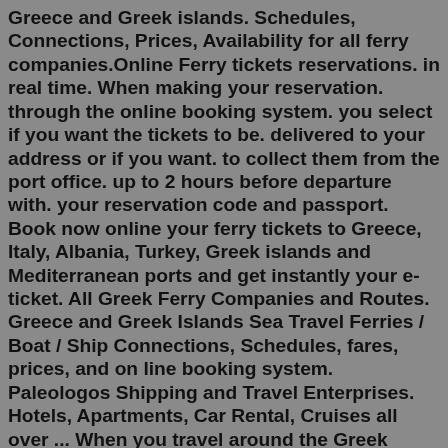Greece and Greek islands. Schedules, Connections, Prices, Availability for all ferry companies.Online Ferry tickets reservations. in real time. When making your reservation. through the online booking system. you select if you want the tickets to be. delivered to your address or if you want. to collect them from the port office. up to 2 hours before departure with. your reservation code and passport. Book now online your ferry tickets to Greece, Italy, Albania, Turkey, Greek islands and Mediterranean ports and get instantly your e-ticket. All Greek Ferry Companies and Routes. Greece and Greek Islands Sea Travel Ferries / Boat / Ship Connections, Schedules, fares, prices, and on line booking system. Paleologos Shipping and Travel Enterprises. Hotels, Apartments, Car Rental, Cruises all over ... When you travel around the Greek islands, sometimes the ferries are unavoidable—BUT there are options and things to keep in mind.I'm sharing my honest opinion of ferry travel in Greece, along with which ferries are good and which ones are…not so good. Spoiler alert: I almost called this blog post